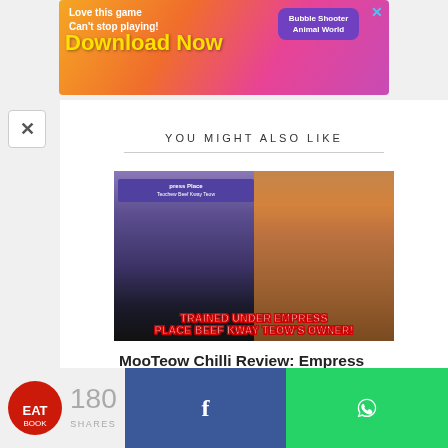[Figure (screenshot): Advertisement banner: colorful gradient background with text 'Love this game Can't stop playing! Download Now' and 'Bubble Shooter Animal World' game ad with close X button]
[Figure (photo): Composite image: left side shows two men standing in front of an 'Empress Place' sign, right side shows noodles being lifted with chopsticks from a red bowl. Text overlay reads 'TRAINED UNDER EMPRESS PLACE BEEF KWAY TEOW'S OWNER!']
YOU MIGHT ALSO LIKE
MooTeow Chilli Review: Empress Place Beef Kway Teow Passes On
[Figure (screenshot): Bottom sharing bar with Eatbook logo, share count '180 SHARES', Facebook share button (blue), and WhatsApp share button (green)]